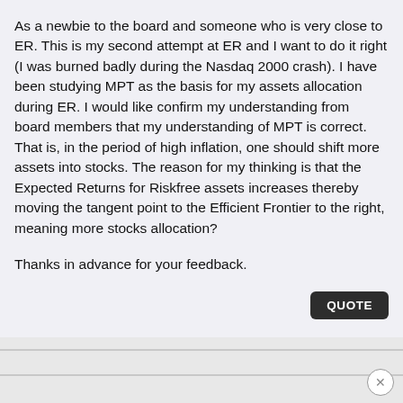As a newbie to the board and someone who is very close to ER. This is my second attempt at ER and I want to do it right (I was burned badly during the Nasdaq 2000 crash). I have been studying MPT as the basis for my assets allocation during ER. I would like confirm my understanding from board members that my understanding of MPT is correct. That is, in the period of high inflation, one should shift more assets into stocks. The reason for my thinking is that the Expected Returns for Riskfree assets increases thereby moving the tangent point to the Efficient Frontier to the right, meaning more stocks allocation?

Thanks in advance for your feedback.